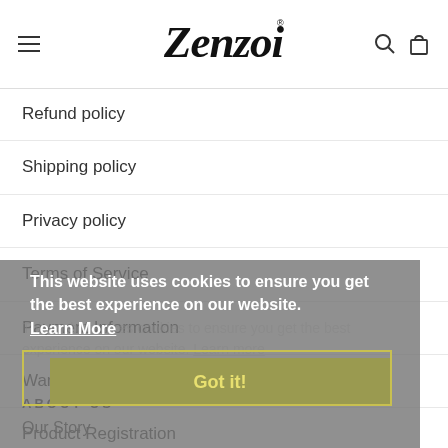[Figure (logo): Zenzoi brand logo in italic script font]
Refund policy
Shipping policy
Privacy policy
Terms of Service
Payment Information
Warranty
Product Registration
ABOUT US
Our Story
This website uses cookies to ensure you get the best experience on our website. Learn More Got it!